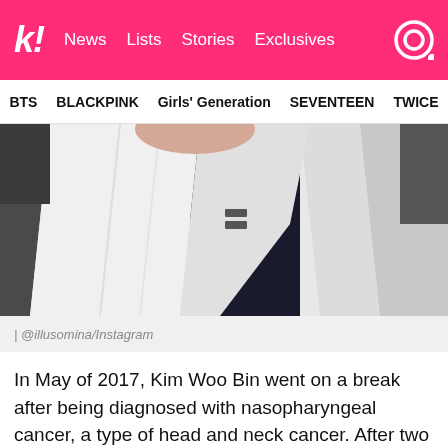k! News  Lists  Stories  Exclusives
BTS  BLACKPINK  Girls' Generation  SEVENTEEN  TWICE
[Figure (photo): Close-up photo of a person wearing a white jacket over a dark shirt, photographed from neck/chest area downward]
| @illusomina/Instagram
In May of 2017, Kim Woo Bin went on a break after being diagnosed with nasopharyngeal cancer, a type of head and neck cancer. After two and a half years of regaining his health, Kim Woo Bin returned and signed a contract with